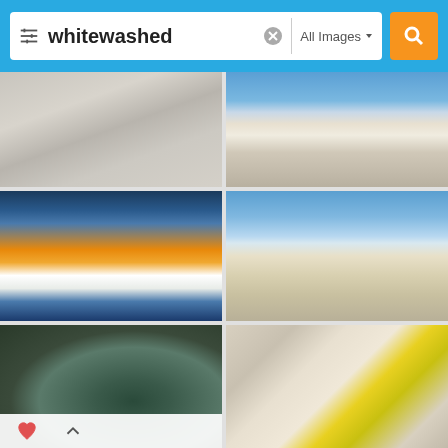[Figure (screenshot): Image search interface showing search bar with 'whitewashed' query, filter icon, clear button, 'All Images' dropdown, and orange search button, on a blue background]
[Figure (photo): Newborn baby wrapped in white cloth, aerial view on whitewashed wooden planks]
[Figure (photo): White pyramid-shaped structures in a desert landscape with mountains and blue sky]
[Figure (photo): Santorini Greece at sunset with whitewashed buildings and blue domed church]
[Figure (photo): Empty beach with sand road stretching into the distance under blue sky with clouds]
[Figure (photo): Spiral staircase viewed from above with ornate teal/green decorative metalwork]
[Figure (photo): Cleaning supplies on whitewashed wooden surface: gloves, brush, yellow rubber gloves, green sponge, to-do list, clothespins]